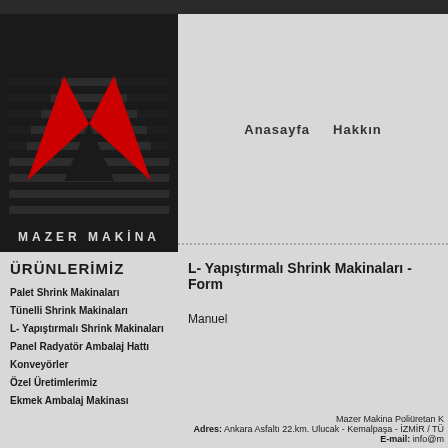[Figure (logo): Mazer Makina logo: red M shape on black background with horizontal stripes, and MAZER MAKİNA text below]
Anasayfa  Hakkın
ÜRÜNLERİMİZ
Palet Shrink Makinaları
Tünelli Shrink Makinaları
L- Yapıştırmalı Shrink Makinaları
Panel Radyatör Ambalaj Hattı
Konveyörler
Özel Üretimlerimiz
Ekmek Ambalaj Makinası
L- Yapıştırmalı Shrink Makinaları - Form
Manuel
Mazer Makina Poliüretan K
Adres: Ankara Asfaltı 22.km. Ulucak - Kemalpaşa - İZMİR / TÜ
E-mail: info@m